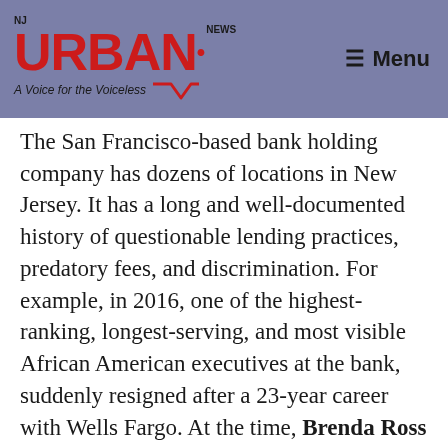[Figure (logo): NJ Urban News logo with tagline 'A Voice for the Voiceless' on a purple/slate background header, with Menu icon on the right]
The San Francisco-based bank holding company has dozens of locations in New Jersey. It has a long and well-documented history of questionable lending practices, predatory fees, and discrimination. For example, in 2016, one of the highest-ranking, longest-serving, and most visible African American executives at the bank, suddenly resigned after a 23-year career with Wells Fargo. At the time, Brenda Ross Dulan was executive vice president and regional president of Wells Fargo's